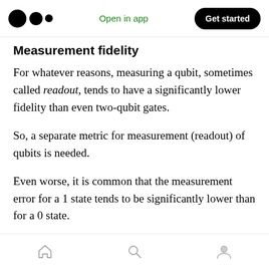Open in app | Get started
Measurement fidelity
For whatever reasons, measuring a qubit, sometimes called readout, tends to have a significantly lower fidelity than even two-qubit gates.
So, a separate metric for measurement (readout) of qubits is needed.
Even worse, it is common that the measurement error for a 1 state tends to be significantly lower than for a 0 state.
Home | Search | Profile